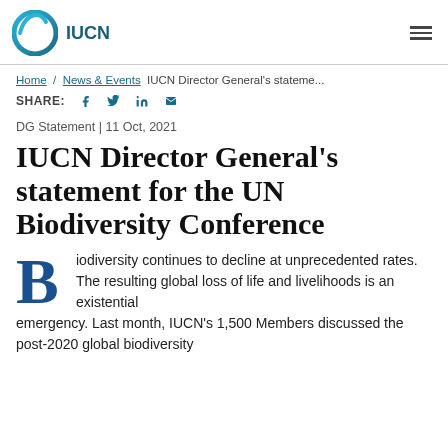IUCN [logo]
Home / News & Events IUCN Director General's stateme...
SHARE: [facebook] [twitter] [linkedin] [email]
DG Statement | 11 Oct, 2021
IUCN Director General's statement for the UN Biodiversity Conference
Biodiversity continues to decline at unprecedented rates. The resulting global loss of life and livelihoods is an existential emergency. Last month, IUCN's 1,500 Members discussed the post-2020 global biodiversity